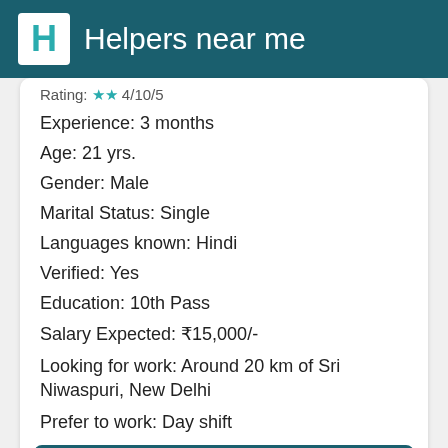Helpers near me
Rating: ★★ 4/10/5
Experience: 3 months
Age: 21 yrs.
Gender: Male
Marital Status: Single
Languages known: Hindi
Verified: Yes
Education: 10th Pass
Salary Expected: ₹15,000/-
Looking for work: Around 20 km of Sri Niwaspuri, New Delhi
Prefer to work: Day shift
Find & Hire now →
Shiv Rattan Chaudh...